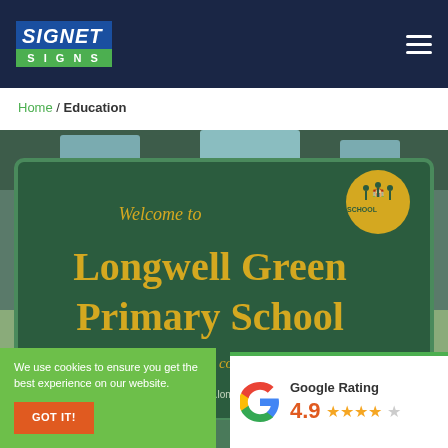Signet Signs — navigation header with logo and hamburger menu
Home / Education
[Figure (photo): A green school welcome sign reading 'Welcome to Longwell Green Primary School — Inspiring a learning community for all', with a yellow school emblem at top right and phone/website details at the bottom. Background shows bare winter trees.]
We use cookies to ensure you get the best experience on our website.
GOT IT!
Google Rating 4.9